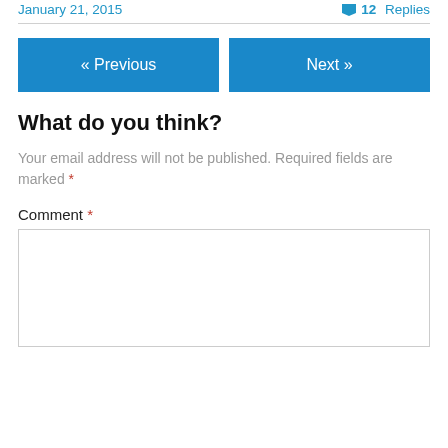January 21, 2015    12 Replies
« Previous    Next »
What do you think?
Your email address will not be published. Required fields are marked *
Comment *